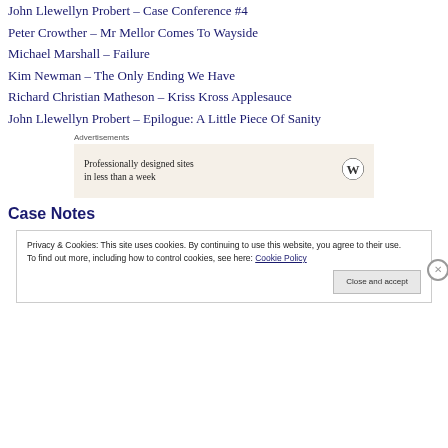John Llewellyn Probert – Case Conference #4
Peter Crowther – Mr Mellor Comes To Wayside
Michael Marshall – Failure
Kim Newman – The Only Ending We Have
Richard Christian Matheson – Kriss Kross Applesauce
John Llewellyn Probert – Epilogue: A Little Piece Of Sanity
Advertisements
[Figure (other): WordPress advertisement banner: 'Professionally designed sites in less than a week' with WordPress logo]
Case Notes
Privacy & Cookies: This site uses cookies. By continuing to use this website, you agree to their use. To find out more, including how to control cookies, see here: Cookie Policy